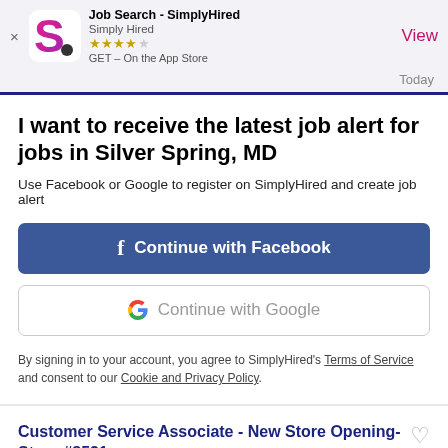Job Search - SimplyHired | Simply Hired | GET – On the App Store | View
Today
I want to receive the latest job alert for jobs in Silver Spring, MD
Use Facebook or Google to register on SimplyHired and create job alert
f  Continue with Facebook
G  Continue with Google
By signing in to your account, you agree to SimplyHired's Terms of Service and consent to our Cookie and Privacy Policy.
Customer Service Associate - New Store Opening- Store #8521